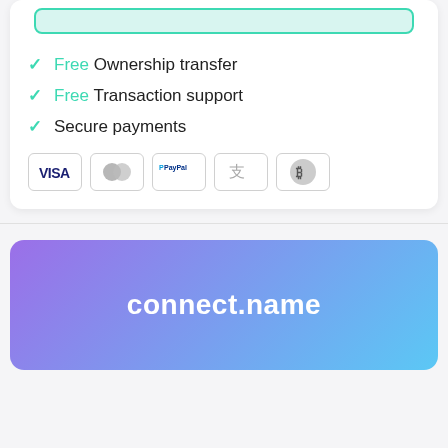[Figure (other): Teal/green outlined input bar at the top of a white card]
Free Ownership transfer
Free Transaction support
Secure payments
[Figure (other): Payment method icons: VISA, Mastercard, PayPal, Alipay, Bitcoin]
connect.name